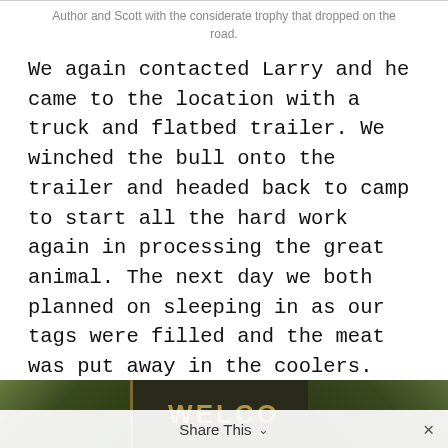Author and Scott with the considerate trophy that dropped on the road.
We again contacted Larry and he came to the location with a truck and flatbed trailer. We winched the bull onto the trailer and headed back to camp to start all the hard work again in processing the great animal. The next day we both planned on sleeping in as our tags were filled and the meat was put away in the coolers. The memories that we both had in taking those two bulls in back to back days will never be forgotten and the friendship establish at moose camp will be remembered forever.
[Figure (photo): Partial photo of a wooden welcome sign with decorative foliage, visible at the bottom of the page]
Share This